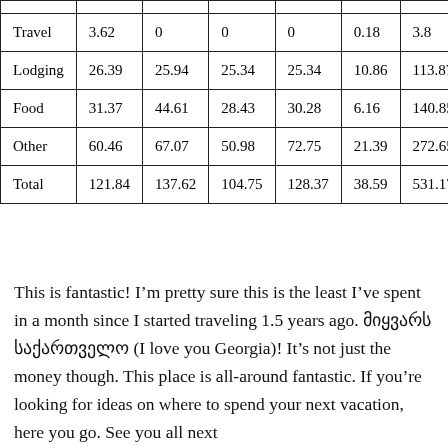|  |  |  |  |  |  |  |
| --- | --- | --- | --- | --- | --- | --- |
| Travel | 3.62 | 0 | 0 | 0 | 0.18 | 3.8 |
| Lodging | 26.39 | 25.94 | 25.34 | 25.34 | 10.86 | 113.87 |
| Food | 31.37 | 44.61 | 28.43 | 30.28 | 6.16 | 140.85 |
| Other | 60.46 | 67.07 | 50.98 | 72.75 | 21.39 | 272.65 |
| Total | 121.84 | 137.62 | 104.75 | 128.37 | 38.59 | 531.17 |
This is fantastic! I'm pretty sure this is the least I've spent in a month since I started traveling 1.5 years ago. მიყვარს საქართველო (I love you Georgia)! It's not just the money though. This place is all-around fantastic. If you're looking for ideas on where to spend your next vacation, here you go. See you all next